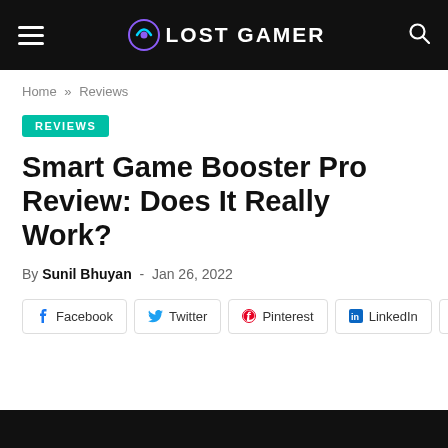LOST GAMER
Home » Reviews
REVIEWS
Smart Game Booster Pro Review: Does It Really Work?
By Sunil Bhuyan - Jan 26, 2022
Facebook  Twitter  Pinterest  LinkedIn  Share